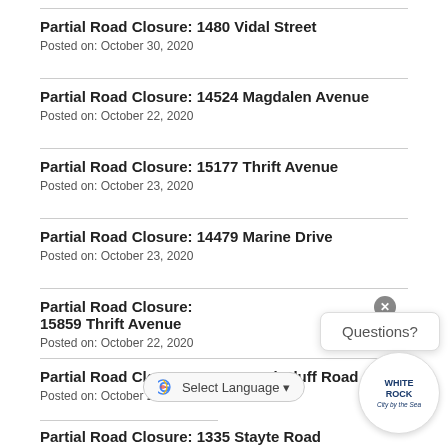Partial Road Closure: 1480 Vidal Street
Posted on: October 30, 2020
Partial Road Closure: 14524 Magdalen Avenue
Posted on: October 22, 2020
Partial Road Closure: 15177 Thrift Avenue
Posted on: October 23, 2020
Partial Road Closure: 14479 Marine Drive
Posted on: October 23, 2020
Partial Road Closure: 15859 Thrift Avenue
Posted on: October 22, 2020
Partial Road Closure: 14098 NorthBluff Road
Posted on: October 20, 2020
Partial Road Closure: 1335 Stayte Road